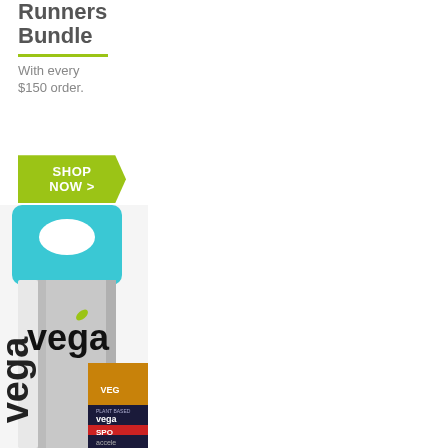Runners Bundle
With every $150 order.
SHOP NOW >
While quantities last.
[Figure (photo): Vega brand water bottle (silver with teal/cyan top and handle) alongside Vega Sport product packaging including a dark blue/black package with red accent labeled 'accelerate']